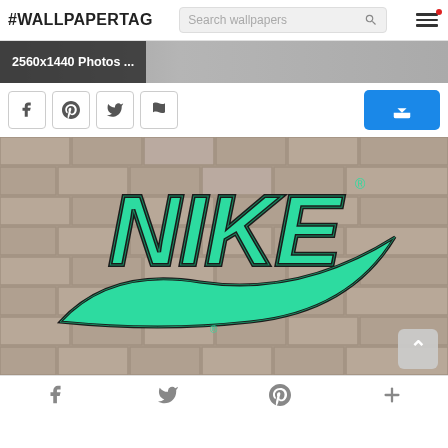#WALLPAPERTAG
2560x1440 Photos ...
[Figure (screenshot): Nike logo with teal hexagonal pattern on a brick wall background]
Social navigation: facebook, twitter, pinterest, plus